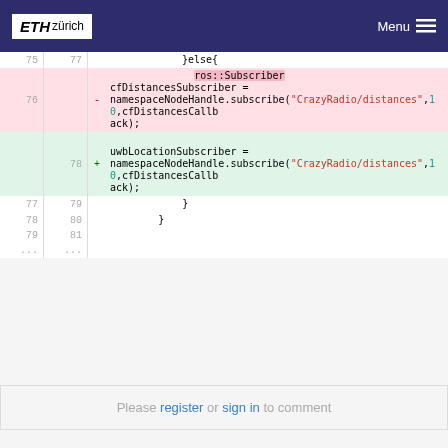[Figure (screenshot): ETH Zürich website header with logo and Menu button]
Code diff showing removal of ros::Subscriber cfDistancesSubscriber and addition of uwbLocationSubscriber, both subscribing to namespaceNodeHandle with CrazyRadio/distances, 10, cfDistancesCallback
Please register or sign in to comment